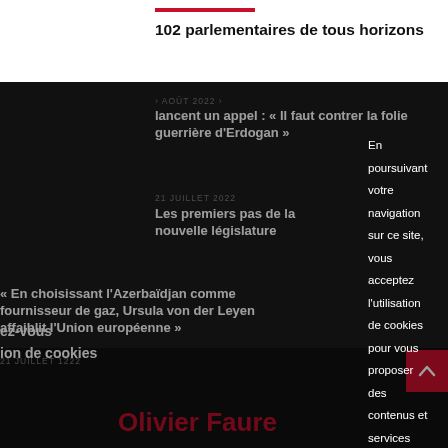102 parlementaires de tous horizons
lancent un appel : « Il faut contrer la folie guerrière d'Erdogan »
AOÛT 2022
Les premiers pas de la nouvelle législature
21 JUILLET 2022
« En choisissant l'Azerbaïdjan comme fournisseur de gaz, Ursula von der Leyen affaiblit l'Union européenne »
ez-vous
ion de cookies
En poursuivant votre navigation sur ce site, vous acceptez l'utilisation de cookies pour vous proposer des contenus et services adaptés à vos centres d'intérêt.
JE REFUSE
J'AC
Olivier Faure